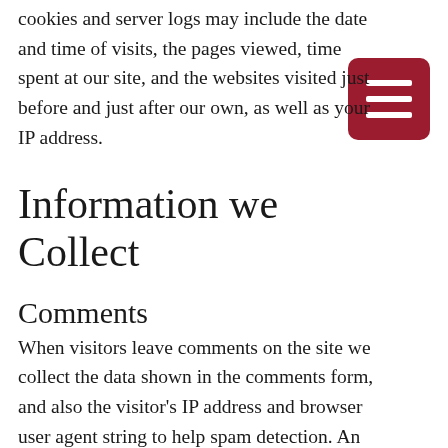cookies and server logs may include the date and time of visits, the pages viewed, time spent at our site, and the websites visited just before and just after our own, as well as your IP address.
Information we Collect
Comments
When visitors leave comments on the site we collect the data shown in the comments form, and also the visitor's IP address and browser user agent string to help spam detection. An anonymised string created from your email address (also called a hash) may be provided to the Gravatar service to see if you are using it. The Gravatar service privacy policy is available here: https://automattic.com/privacy/. After approval of your comment, your profile